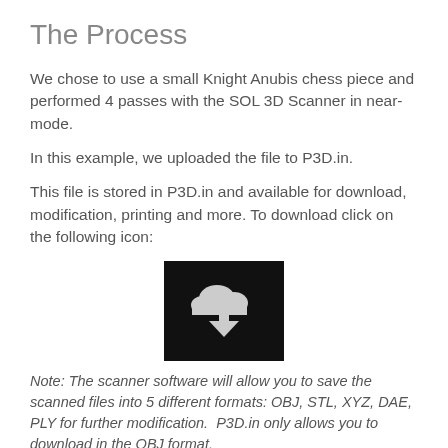The Process
We chose to use a small Knight Anubis chess piece and performed 4 passes with the SOL 3D Scanner in near-mode.
In this example, we uploaded the file to P3D.in.
This file is stored in P3D.in and available for download, modification, printing and more. To download click on the following icon:
[Figure (screenshot): Black square button with a white cloud download icon (cloud with downward arrow)]
Note: The scanner software will allow you to save the scanned files into 5 different formats: OBJ, STL, XYZ, DAE, PLY for further modification. P3D.in only allows you to download in the OBJ format.